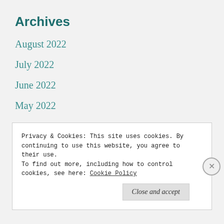Archives
August 2022
July 2022
June 2022
May 2022
April 2022
March 2022
February 2022
January 2022
Privacy & Cookies: This site uses cookies. By continuing to use this website, you agree to their use.
To find out more, including how to control cookies, see here: Cookie Policy
Close and accept